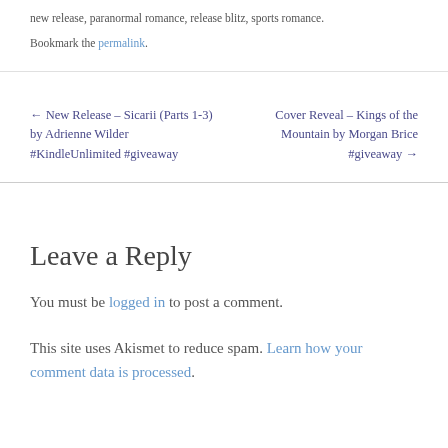new release, paranormal romance, release blitz, sports romance.
Bookmark the permalink.
← New Release – Sicarii (Parts 1-3) by Adrienne Wilder #KindleUnlimited #giveaway
Cover Reveal – Kings of the Mountain by Morgan Brice #giveaway →
Leave a Reply
You must be logged in to post a comment.
This site uses Akismet to reduce spam. Learn how your comment data is processed.